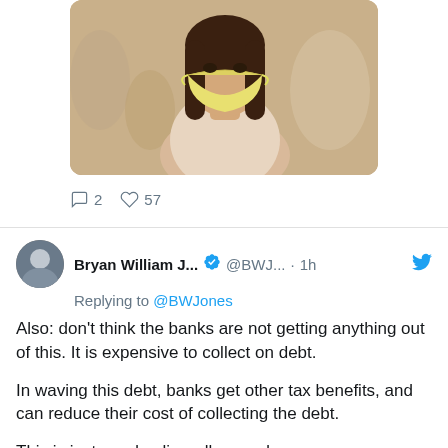[Figure (photo): Person wearing a yellow face mask with long dark hair, in a crowded indoor setting. Other people visible in background.]
2  57
Bryan William J... @BWJ... · 1h
Replying to @BWJones
Also: don't think the banks are not getting anything out of this. It is expensive to collect on debt.

In waving this debt, banks get other tax benefits, and can reduce their cost of collecting the debt.

This is just good policy, all around.

5
Bryan William J... @BWJ... · 1h